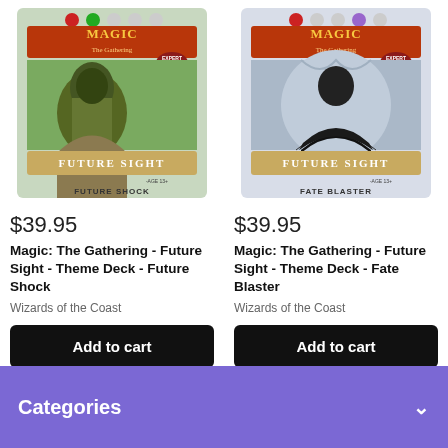[Figure (photo): Magic: The Gathering - Future Sight theme deck booster pack labeled 'Future Shock' with green creature art]
$39.95
Magic: The Gathering - Future Sight - Theme Deck - Future Shock
Wizards of the Coast
Add to cart
[Figure (photo): Magic: The Gathering - Future Sight theme deck booster pack labeled 'Fate Blaster' with dark robed figure art]
$39.95
Magic: The Gathering - Future Sight - Theme Deck - Fate Blaster
Wizards of the Coast
Add to cart
Categories